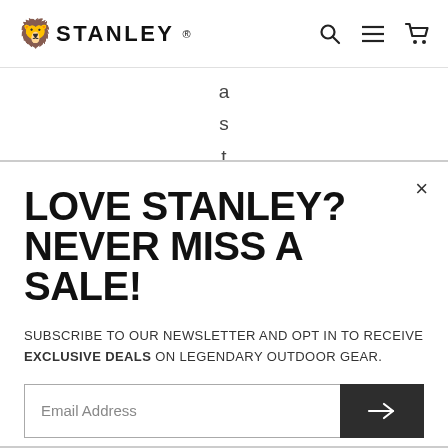STANLEY
a s t i
LOVE STANLEY? NEVER MISS A SALE!
SUBSCRIBE TO OUR NEWSLETTER AND OPT IN TO RECEIVE EXCLUSIVE DEALS ON LEGENDARY OUTDOOR GEAR.